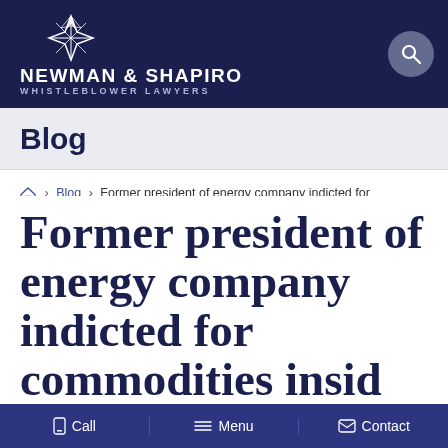NEWMAN & SHAPIRO WHISTLEBLOWER LAWYERS
Blog
Home > Blog > Former president of energy company indicted for commodities insider trading and kickback scheme
Former president of energy company indicted for commodities insider trading and kickback scheme
Call  Menu  Contact